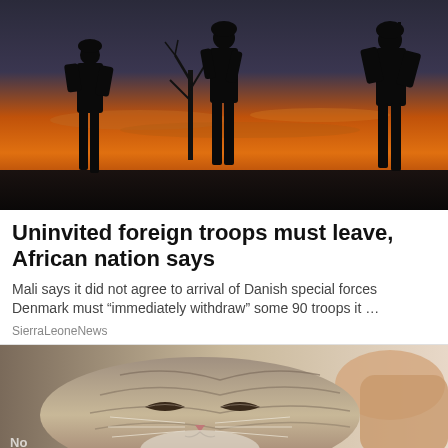[Figure (photo): Silhouettes of soldiers in military gear standing against a dramatic sunset sky with orange and dark blue tones. A bare tree is visible in the background.]
Uninvited foreign troops must leave, African nation says
Mali says it did not agree to arrival of Danish special forces Denmark must "immediately withdraw" some 90 troops it ...
SierraLeoneNews
[Figure (photo): Close-up photo of a tabby cat with eyes almost closed, appearing relaxed or sleepy. A human hand is visible in the background petting it.]